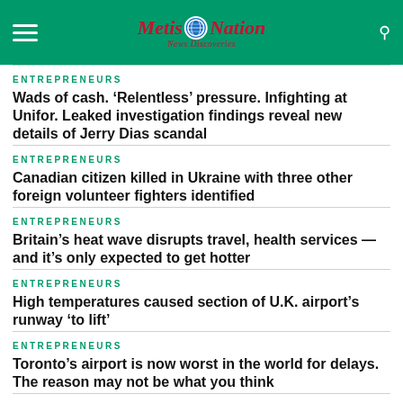Metis Nation News Discoveries
ENTREPRENEURS
Wads of cash. ‘Relentless’ pressure. Infighting at Unifor. Leaked investigation findings reveal new details of Jerry Dias scandal
ENTREPRENEURS
Canadian citizen killed in Ukraine with three other foreign volunteer fighters identified
ENTREPRENEURS
Britain’s heat wave disrupts travel, health services — and it’s only expected to get hotter
ENTREPRENEURS
High temperatures caused section of U.K. airport’s runway ‘to lift’
ENTREPRENEURS
Toronto’s airport is now worst in the world for delays. The reason may not be what you think
ENTREPRENEURS